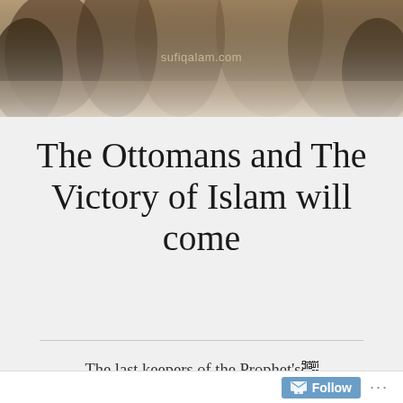[Figure (photo): Sepia-toned photograph of people in traditional/historical dress, with watermark text 'sufiqalam.com' overlaid in the center]
The Ottomans and The Victory of Islam will come
The last keepers of the Prophet's﷽ Banner and the Islamic Caliphate